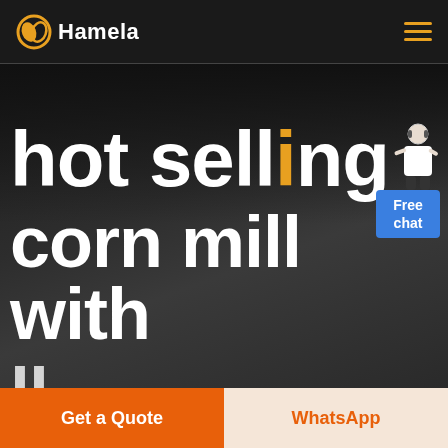Hamela
hot selling corn mill with
[Figure (illustration): Customer service representative in white blazer pointing, with Free chat button overlay]
Get a Quote
WhatsApp